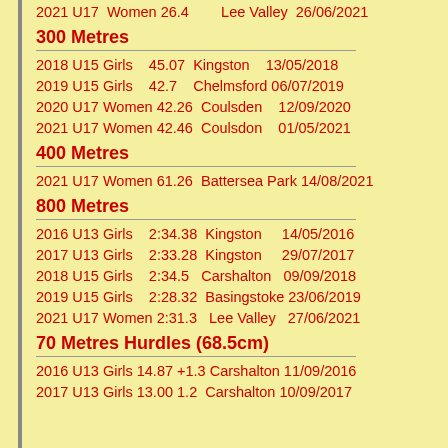2021 U17 Women 26.4  Lee Valley  26/06/2021
300 Metres
2018 U15 Girls   45.07  Kingston   13/05/2018
2019 U15 Girls   42.7   Chelmsford 06/07/2019
2020 U17 Women 42.26  Coulsden   12/09/2020
2021 U17 Women 42.46  Coulsdon   01/05/2021
400 Metres
2021 U17 Women 61.26  Battersea Park 14/08/2021
800 Metres
2016 U13 Girls   2:34.38  Kingston     14/05/2016
2017 U13 Girls   2:33.28  Kingston     29/07/2017
2018 U15 Girls   2:34.5   Carshalton   09/09/2018
2019 U15 Girls   2:28.32  Basingstoke  23/06/2019
2021 U17 Women 2:31.3   Lee Valley   27/06/2021
70 Metres Hurdles (68.5cm)
2016 U13 Girls 14.87 +1.3 Carshalton 11/09/2016
2017 U13 Girls 13.00 1.2  Carshalton 10/09/2017